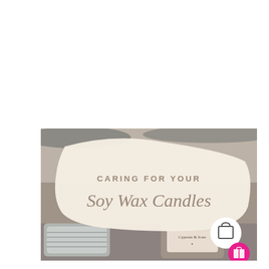[Figure (photo): Photo of soy wax candle tins/jars on a light surface. A large cream-colored swoosh overlay covers the center with text 'CARING FOR YOUR Soy Wax Candles'. A shopping bag icon in a white circle and a gift icon in a magenta circle appear in the bottom-right corner.]